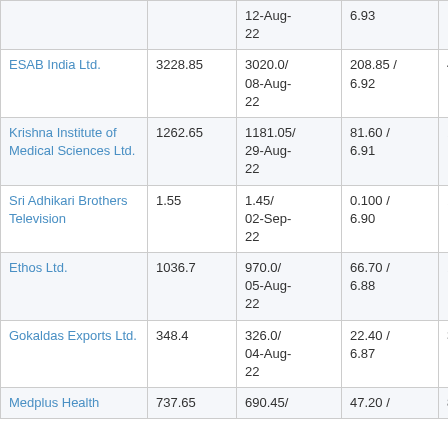|  |  | 12-Aug-22 | 6.93 |  |
| ESAB India Ltd. | 3228.85 | 3020.0/ 08-Aug-22 | 208.85 / 6.92 | 4867 |
| Krishna Institute of Medical Sciences Ltd. | 1262.65 | 1181.05/ 29-Aug-22 | 81.60 / 6.91 | 121 K |
| Sri Adhikari Brothers Television | 1.55 | 1.45/ 02-Sep-22 | 0.100 / 6.90 | 15171 |
| Ethos Ltd. | 1036.7 | 970.0/ 05-Aug-22 | 66.70 / 6.88 | 106 K |
| Gokaldas Exports Ltd. | 348.4 | 326.0/ 04-Aug-22 | 22.40 / 6.87 | 388 K |
| Medplus Health | 737.65 | 690.45/ | 47.20 / | 89799 |